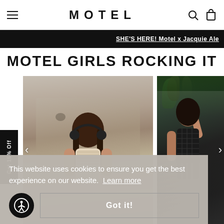MOTEL
SHE'S HERE! Motel x Jacquie Ale
MOTEL GIRLS ROCKING IT
[Figure (photo): Fashion photo of a woman with headphones outdoors on a road/street, wearing a printed top, with her eyes closed and hair down.]
[Figure (photo): Fashion photo of a woman in a black mesh/net dress against a white wall with green foliage, arm raised above head.]
Get 15% Off
This website uses cookies to ensure you get the best experience on our website. Learn more
Got it!